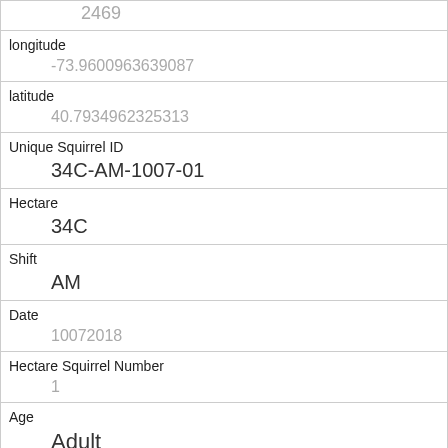| 2469 |
| longitude | -73.9600963639087 |
| latitude | 40.7934962325313 |
| Unique Squirrel ID | 34C-AM-1007-01 |
| Hectare | 34C |
| Shift | AM |
| Date | 10072018 |
| Hectare Squirrel Number | 1 |
| Age | Adult |
| Primary Fur Color | Black |
| Highlight Fur Color |  |